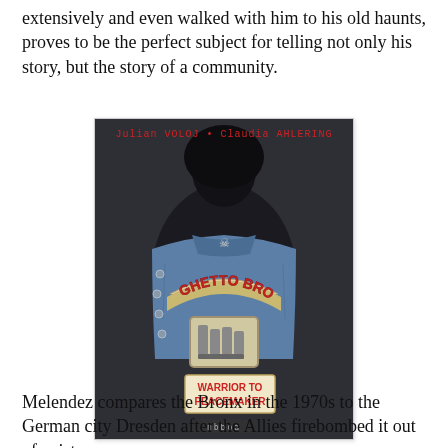extensively and even walked with him to his old haunts, proves to be the perfect subject for telling not only his story, but the story of a community.
[Figure (illustration): Book cover of 'Ghetto Brother: Warrior to Peacemaker' by Julian Voloj and Claudia Ahlering. Shows the back of a person wearing a denim jacket with patches reading 'GHETTO BROTHER' and 'WARRIOR TO PEACEMAKER'. Authors' names appear in red at the top.]
Melendez compares the Bronx in the 1970s to the German city Dresden after the Allies firebombed it out of existence.